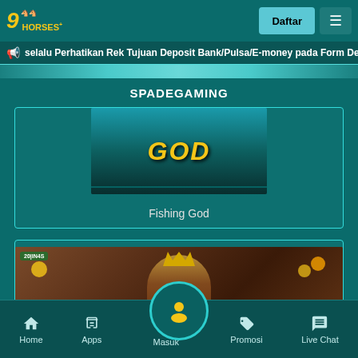9HORSES - Daftar
selalu Perhatikan Rek Tujuan Deposit Bank/Pulsa/E-money pada Form Dep
SPADEGAMING
[Figure (screenshot): Fishing God game card showing GOD text in yellow on teal background]
Fishing God
[Figure (screenshot): Prosperity slot game card showing crowned king character with 20 LINES badge and Prosperity logo]
Home | Apps | Masuk | Promosi | Live Chat